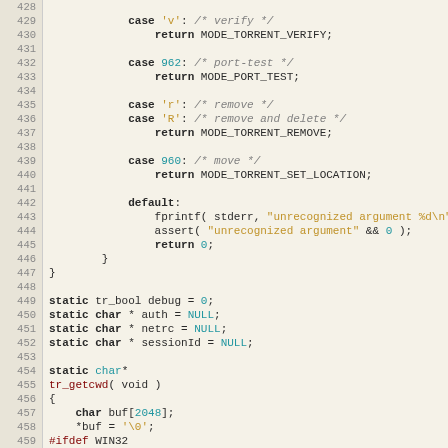[Figure (screenshot): Source code screenshot showing C code lines 428-459, with syntax highlighting. Code shows switch-case statements for torrent mode handling, followed by static variable declarations and a tr_getcwd function definition.]